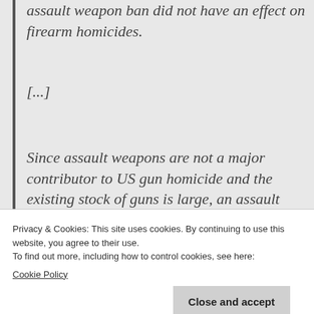assault weapon ban did not have an effect on firearm homicides.
[...]
Since assault weapons are not a major contributor to US gun homicide and the existing stock of guns is large, an assault weapon ban is unlikely to have an impact on gun violence.
Privacy & Cookies: This site uses cookies. By continuing to use this website, you agree to their use.
To find out more, including how to control cookies, see here:
Cookie Policy
Close and accept